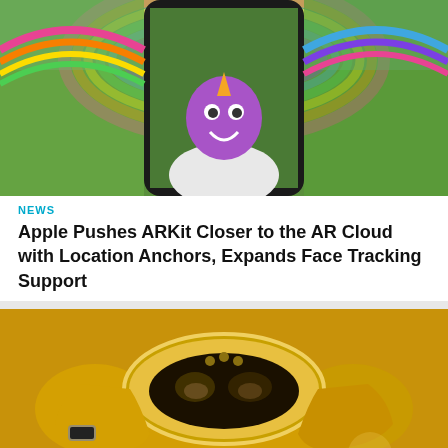[Figure (photo): Person wearing a unicorn AR filter with a colorful rainbow background, shown on a smartphone screen. The person is outdoors on a grassy field.]
NEWS
Apple Pushes ARKit Closer to the AR Cloud with Location Anchors, Expands Face Tracking Support
[Figure (photo): Person in a yellow suit putting on or adjusting a gold/chrome VR or AR headset device in a dimly lit indoor setting.]
NEWS